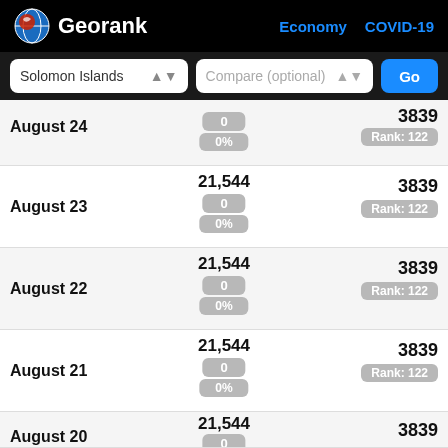Georank — Economy COVID-19
Solomon Islands | Compare (optional) | Go
August 24 | 0 | 0% | 3839 | Rank: 122
August 23 | 21,544 | 0 | 0% | 3839 | Rank: 122
August 22 | 21,544 | 0 | 0% | 3839 | Rank: 122
August 21 | 21,544 | 0 | 0% | 3839 | Rank: 122
August 20 | 21,544 | 0 | 3839